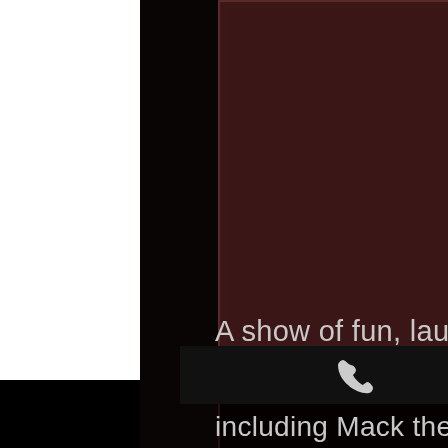[Figure (photo): Top portion shows a dark brownish-red rectangular image placeholder area, with a dark border, against a very dark background. A white column is visible on the left side.]
[Figure (photo): Lower rectangular image placeholder area in near-black, bordered with dark red, contains no visible content. Gold velvet rope stanchions visible on the right side against a blurred red carpet background.]
A show of fun, laughter and
[Figure (infographic): Dark contact bar with a phone icon on the left and an email/envelope icon on the right, centered on a black bar.]
including Mack the Knite, Lady is